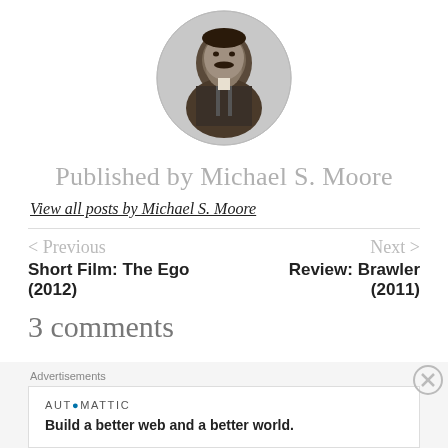[Figure (photo): Circular portrait photo of a man with a mustache, black and white historical photograph]
Published by Michael S. Moore
View all posts by Michael S. Moore
< Previous
Next >
Short Film: The Ego (2012)
Review: Brawler (2011)
3 comments
Advertisements
AUTOMATTIC
Build a better web and a better world.